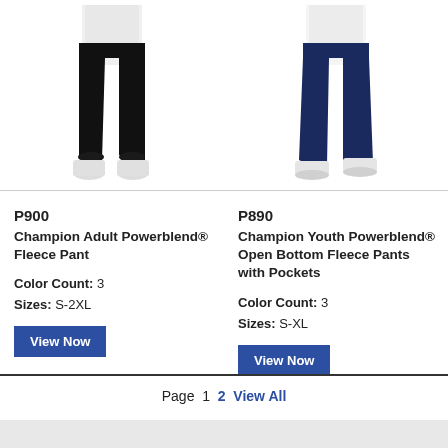[Figure (photo): Male model wearing black Champion jogger sweatpants (P900), cropped showing waist to shoes with white socks]
P900
Champion Adult Powerblend® Fleece Pant
Color Count: 3
Sizes: S-2XL
View Now
[Figure (photo): Person wearing navy Champion youth open bottom fleece pants (P890), cropped showing waist to shoes with white sneakers]
P890
Champion Youth Powerblend® Open Bottom Fleece Pants with Pockets
Color Count: 3
Sizes: S-XL
View Now
Page  1  2  View All